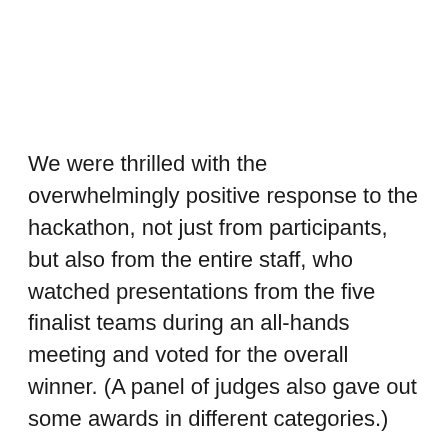We were thrilled with the overwhelmingly positive response to the hackathon, not just from participants, but also from the entire staff, who watched presentations from the five finalist teams during an all-hands meeting and voted for the overall winner. (A panel of judges also gave out some awards in different categories.)
So over the next few weeks, we'll showcase on the blog the cool projects the teams built, and equally importantly, the behind-the-scenes fun they had, often working with folks they hadn't collaborated with before. The best part of the hackathon was